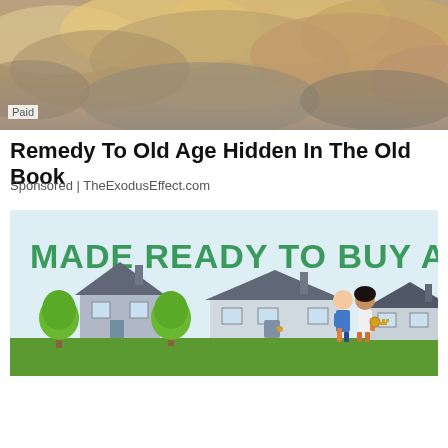[Figure (photo): Dramatic cloud sky photograph with orange and grey clouds, with 'Paid' label overlay]
Remedy To Old Age Hidden In The Old Book
Sponsored | TheExodusEffect.com
[Figure (illustration): Home buying advertisement illustration: light blue background with text 'MADE READY TO BUY A HOME' in large green letters, cartoon houses and two people holding keys in foreground]
[Figure (infographic): Capital Home Show advertisement banner: dark red background, 'CAPITAL HOME SHOW' on left, 'SEPT. 23-25 DULLES EXPO CENTER' in center, 'SAVE $3 NOW BUY NOW' button on right]